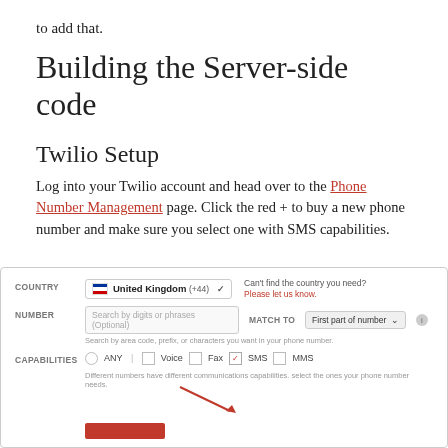to add that.
Building the Server-side code
Twilio Setup
Log into your Twilio account and head over to the Phone Number Management page. Click the red + to buy a new phone number and make sure you select one with SMS capabilities.
[Figure (screenshot): Twilio Phone Number search UI showing COUNTRY field set to United Kingdom (+44), NUMBER search field, MATCH TO dropdown set to First part of number, and CAPABILITIES row with ANY, Voice, Fax, SMS (checked), MMS options. A red arrow points to the SMS checkbox.]